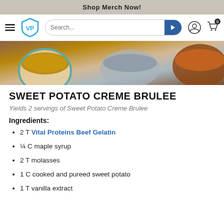Shop Merch Now!
[Figure (screenshot): Navigation bar with hamburger menu, VP shield logo, search bar, and icons]
[Figure (photo): Hero photo of sweet potato creme brulee ingredients, bowls with brown sugar and caramelized surface]
SWEET POTATO CREME BRULEE
Yields 2 servings of Sweet Potato Creme Brulee
Ingredients:
2 T Vital Proteins Beef Gelatin
¼ C maple syrup
2 T molasses
1 C cooked and pureed sweet potato
1 T vanilla extract